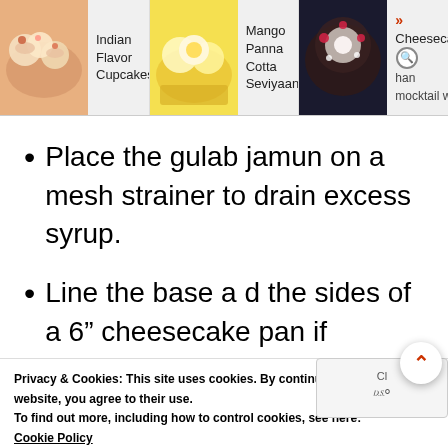[Figure (screenshot): Website navigation header showing three food recipe cards: 'Indian Flavor Cupcakes', 'Mango Panna Cotta Seviyaan...', and 'Cheesecake mocktail w...' with thumbnail images]
Place the gulab jamun on a mesh strainer to drain excess syrup.
Line the base a d the sides of a 6” cheesecake pan if desired. ( This ensures easy and smooth removal later)
Privacy & Cookies: This site uses cookies. By continuing to use this website, you agree to their use.
To find out more, including how to control cookies, see here:
Cookie Policy
[Figure (screenshot): Advertisement banner with purple background and diagonal stripes showing text 'This isn’t forever. It’s just right now.' in orange italic font, with a close button]